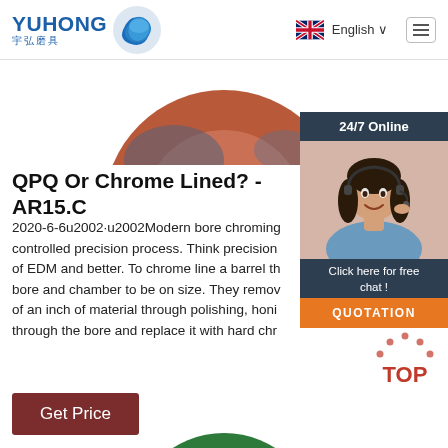[Figure (logo): YUHONG logo with Chinese text 宇弘磨具 and blue wave graphic]
English ∨
[Figure (photo): Circular abrasive disc in red/brown color, partially visible at the top of the page]
[Figure (photo): 24/7 Online chat widget featuring a woman with headset smiling, with 'Click here for free chat!' text and QUOTATION button]
QPQ Or Chrome Lined? - AR15.C
2020-6-6u2002·u2002Modern bore chroming controlled precision process. Think precision of EDM and better. To chrome line a barrel th bore and chamber to be on size. They remov of an inch of material through polishing, honi through the bore and replace it with hard chr
Get Price
[Figure (infographic): TOP button with dotted arc above and red text]
[Figure (photo): Green circular abrasive disc, partially visible at the bottom of the page]